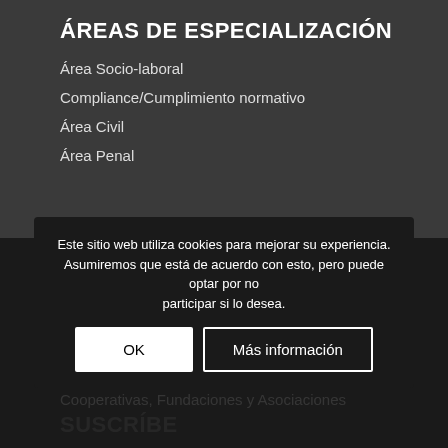ÁREAS DE ESPECIALIZACIÓN
Área Socio-laboral
Compliance/Cumplimiento normativo
Área Civil
Área Penal
SERVICIOS ESPECÍFICOS
Servicios a Trabajadores, Comités de Empresa, Desempleados y Pensionistas
Servicios a Negocios y Organizaciones: Autónomos, PYMES, Cooperativas, Fundaciones y Asociaciones
SUSCRÍBETE
Este sitio web utiliza cookies para mejorar su experiencia. Asumiremos que está de acuerdo con esto, pero puede optar por no participar si lo desea.